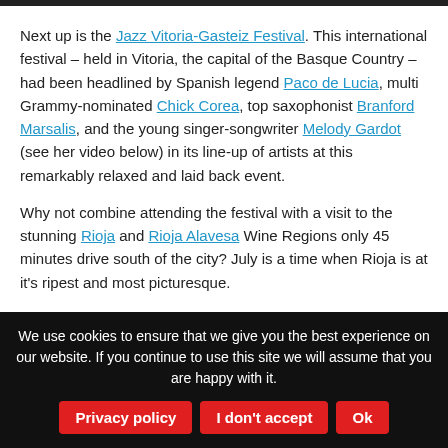Next up is the Jazz Vitoria-Gasteiz Festival. This international festival – held in Vitoria, the capital of the Basque Country – had been headlined by Spanish legend Paco de Lucia, multi Grammy-nominated Chick Corea, top saxophonist Branford Marsalis, and the young singer-songwriter Melody Gardot (see her video below) in its line-up of artists at this remarkably relaxed and laid back event.
Why not combine attending the festival with a visit to the stunning Rioja and Rioja Alavesa Wine Regions only 45 minutes drive south of the city? July is a time when Rioja is at it's ripest and most picturesque.
We use cookies to ensure that we give you the best experience on our website. If you continue to use this site we will assume that you are happy with it.